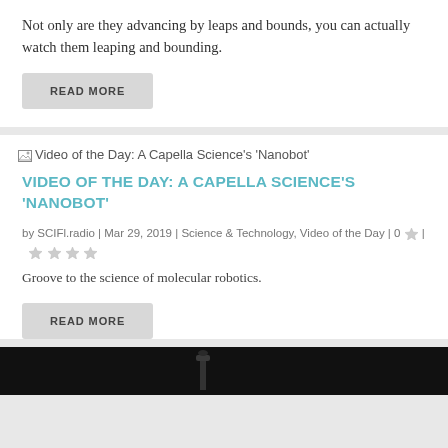Not only are they advancing by leaps and bounds, you can actually watch them leaping and bounding.
READ MORE
[Figure (other): Broken image placeholder for Video of the Day: A Capella Science's 'Nanobot']
VIDEO OF THE DAY: A CAPELLA SCIENCE'S 'NANOBOT'
by SCIFl.radio | Mar 29, 2019 | Science & Technology, Video of the Day | 0 | (star rating)
Groove to the science of molecular robotics.
READ MORE
[Figure (photo): Dark image strip at the bottom of the page, appears to show a dark background with a faint silhouette]